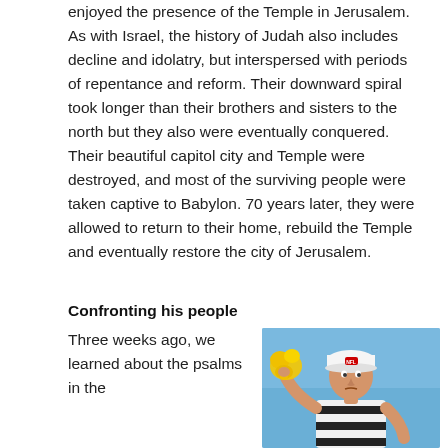enjoyed the presence of the Temple in Jerusalem. As with Israel, the history of Judah also includes decline and idolatry, but interspersed with periods of repentance and reform. Their downward spiral took longer than their brothers and sisters to the north but they also were eventually conquered. Their beautiful capitol city and Temple were destroyed, and most of the surviving people were taken captive to Babylon. 70 years later, they were allowed to return to their home, rebuild the Temple and eventually restore the city of Jerusalem.
Confronting his people
Three weeks ago, we learned about the psalms in the
[Figure (photo): A football referee in a white and black striped shirt and white cap, holding a yellow penalty flag, against a blue sky background.]